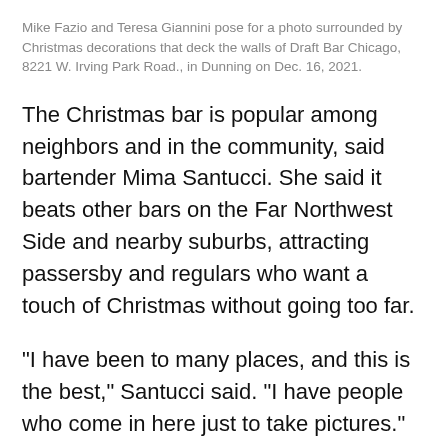Mike Fazio and Teresa Giannini pose for a photo surrounded by Christmas decorations that deck the walls of Draft Bar Chicago, 8221 W. Irving Park Road., in Dunning on Dec. 16, 2021.
The Christmas bar is popular among neighbors and in the community, said bartender Mima Santucci. She said it beats other bars on the Far Northwest Side and nearby suburbs, attracting passersby and regulars who want a touch of Christmas without going too far.
“I have been to many places, and this is the best,” Santucci said. “I have people who come in here just to take pictures.”
Like the bar’s owners, Santucci is a big fan of Christmas and said her house has the same